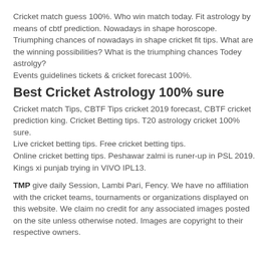Cricket match guess 100%. Who win match today. Fit astrology by means of cbtf prediction. Nowadays in shape horoscope.
Triumphing chances of nowadays in shape cricket fit tips. What are the winning possibilities? What is the triumphing chances Todey astrolgy?
Events guidelines tickets & cricket forecast 100%.
Best Cricket Astrology 100% sure
Cricket match Tips, CBTF Tips cricket 2019 forecast, CBTF cricket prediction king. Cricket Betting tips. T20 astrology cricket 100% sure.
Live cricket betting tips. Free cricket betting tips.
Online cricket betting tips. Peshawar zalmi is runer-up in PSL 2019. Kings xi punjab trying in VIVO IPL13.
TMP give daily Session, Lambi Pari, Fency. We have no affiliation with the cricket teams, tournaments or organizations displayed on this website. We claim no credit for any associated images posted on the site unless otherwise noted. Images are copyright to their respective owners.